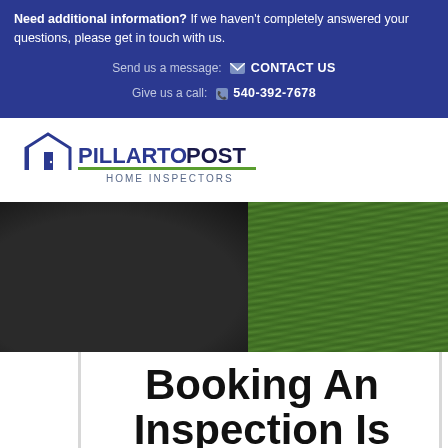Need additional information? If we haven't completely answered your questions, please get in touch with us. Send us a message: CONTACT US Give us a call: 540-392-7678
[Figure (logo): Pillar To Post Home Inspectors logo with house outline graphic]
[Figure (photo): Person wearing dark pants standing outdoors near green grass background]
Booking An Inspection Is Easy